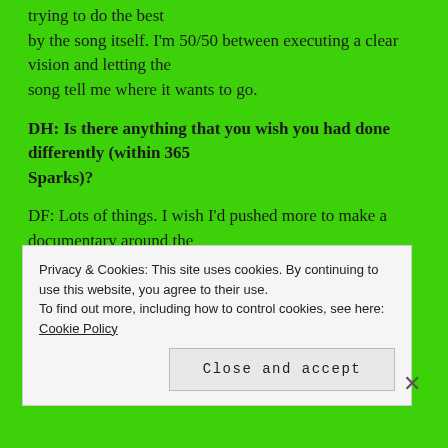trying to do the best by the song itself. I'm 50/50 between executing a clear vision and letting the song tell me where it wants to go.
DH: Is there anything that you wish you had done differently (within 365 Sparks)?
DF: Lots of things. I wish I'd pushed more to make a documentary around the process. I had actually put in a lot of ground work to make it happen and
Privacy & Cookies: This site uses cookies. By continuing to use this website, you agree to their use. To find out more, including how to control cookies, see here: Cookie Policy
Close and accept